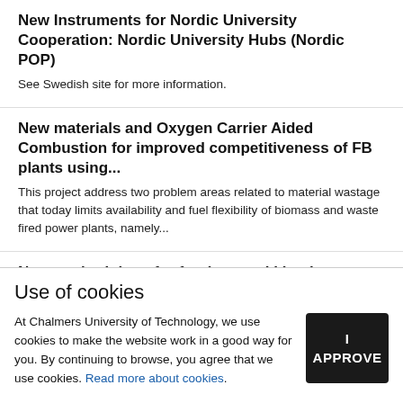New Instruments for Nordic University Cooperation: Nordic University Hubs (Nordic POP)
See Swedish site for more information.
New materials and Oxygen Carrier Aided Combustion for improved competitiveness of FB plants using...
This project address two problem areas related to material wastage that today limits availability and fuel flexibility of biomass and waste fired power plants, namely...
New methodology for fundamental kinetic
Use of cookies
At Chalmers University of Technology, we use cookies to make the website work in a good way for you. By continuing to browse, you agree that we use cookies. Read more about cookies.